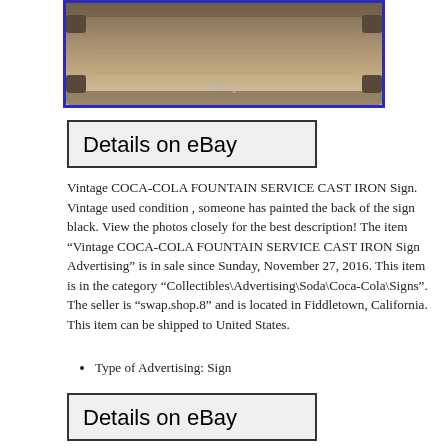[Figure (photo): Vintage cast iron sign photographed from the back, showing a scroll-like shape with a bronze/brown metallic surface. eBay watermark visible in center.]
Details on eBay
Vintage COCA-COLA FOUNTAIN SERVICE CAST IRON Sign. Vintage used condition , someone has painted the back of the sign black. View the photos closely for the best description! The item “Vintage COCA-COLA FOUNTAIN SERVICE CAST IRON Sign Advertising” is in sale since Sunday, November 27, 2016. This item is in the category “Collectibles\Advertising\Soda\Coca-Cola\Signs”. The seller is “swap.shop.8” and is located in Fiddletown, California. This item can be shipped to United States.
Type of Advertising: Sign
Details on eBay